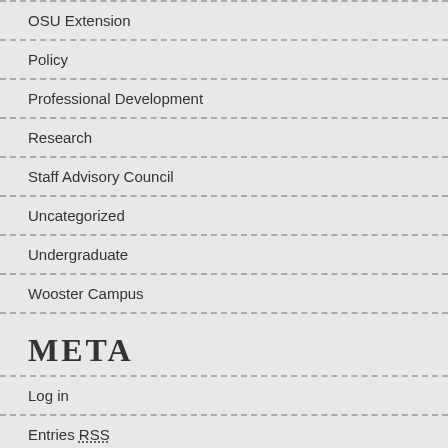OSU Extension
Policy
Professional Development
Research
Staff Advisory Council
Uncategorized
Undergraduate
Wooster Campus
META
Log in
Entries RSS
Comments RSS
u.osu.edu